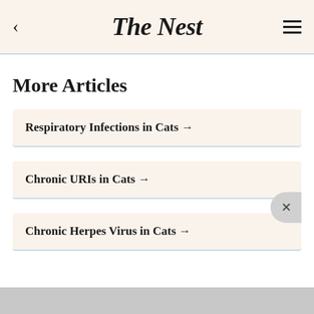The Nest
More Articles
Respiratory Infections in Cats →
Chronic URIs in Cats →
Chronic Herpes Virus in Cats →